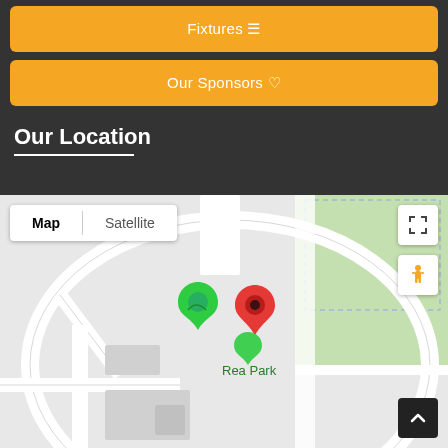Fixtures
Our Sponsors
Our Location
[Figure (map): Google Map showing Rea Park location with a red map pin marker and a green Google Maps logo. Map view selected (Map/Satellite toggle). Map controls include expand button, pegman/street view button, and scroll-to-top button.]